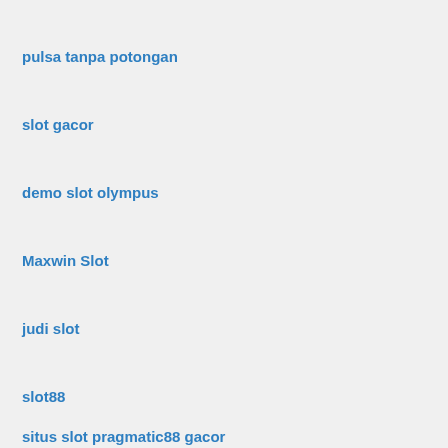pulsa tanpa potongan
slot gacor
demo slot olympus
Maxwin Slot
judi slot
slot88
situs slot pragmatic88 gacor